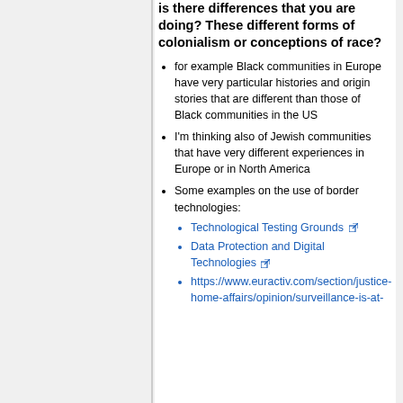is there differences that you are doing? These different forms of colonialism or conceptions of race?
for example Black communities in Europe have very particular histories and origin stories that are different than those of Black communities in the US
I'm thinking also of Jewish communities that have very different experiences in Europe or in North America
Some examples on the use of border technologies:
Technological Testing Grounds [link]
Data Protection and Digital Technologies [link]
https://www.euractiv.com/section/justice-home-affairs/opinion/surveillance-is-at-